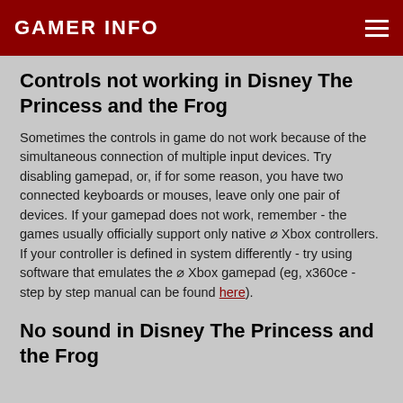GAMER INFO
Controls not working in Disney The Princess and the Frog
Sometimes the controls in game do not work because of the simultaneous connection of multiple input devices. Try disabling gamepad, or, if for some reason, you have two connected keyboards or mouses, leave only one pair of devices. If your gamepad does not work, remember - the games usually officially support only native ⌀ Xbox controllers. If your controller is defined in system differently - try using software that emulates the ⌀ Xbox gamepad (eg, x360ce - step by step manual can be found here).
No sound in Disney The Princess and the Frog